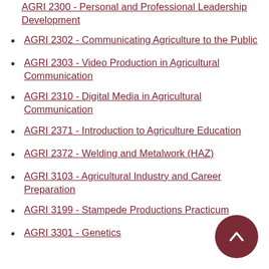AGRI 2300 - Personal and Professional Leadership Development
AGRI 2302 - Communicating Agriculture to the Public
AGRI 2303 - Video Production in Agricultural Communication
AGRI 2310 - Digital Media in Agricultural Communication
AGRI 2371 - Introduction to Agriculture Education
AGRI 2372 - Welding and Metalwork (HAZ)
AGRI 3103 - Agricultural Industry and Career Preparation
AGRI 3199 - Stampede Productions Practicum
AGRI 3301 - Genetics